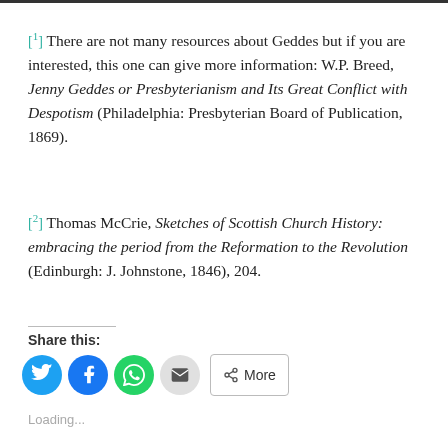[1] There are not many resources about Geddes but if you are interested, this one can give more information: W.P. Breed, Jenny Geddes or Presbyterianism and Its Great Conflict with Despotism (Philadelphia: Presbyterian Board of Publication, 1869).
[2] Thomas McCrie, Sketches of Scottish Church History: embracing the period from the Reformation to the Revolution (Edinburgh: J. Johnstone, 1846), 204.
Share this:
[Figure (other): Share buttons row: Twitter (blue circle), Facebook (blue circle), WhatsApp (green circle), Email (gray circle), More (outlined button with share icon)]
Loading...